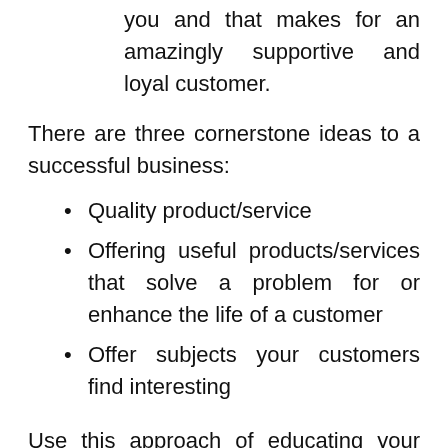you and that makes for an amazingly supportive and loyal customer.
There are three cornerstone ideas to a successful business:
Quality product/service
Offering useful products/services that solve a problem for or enhance the life of a customer
Offer subjects your customers find interesting
Use this approach of educating your customers and offering them real information and insight and you will be rewarded with loyalty and success.